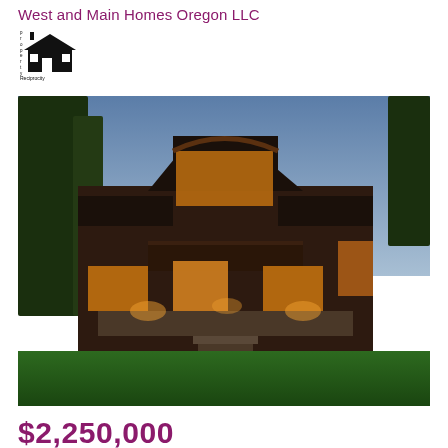West and Main Homes Oregon LLC
[Figure (logo): West and Main Homes Oregon LLC logo with pixel-art style house icon and text]
[Figure (photo): Exterior photo of a large rustic lodge-style home at dusk with warm interior lighting, large gabled roof with timber framing, stone accents, deck, and green lawn]
$2,250,000